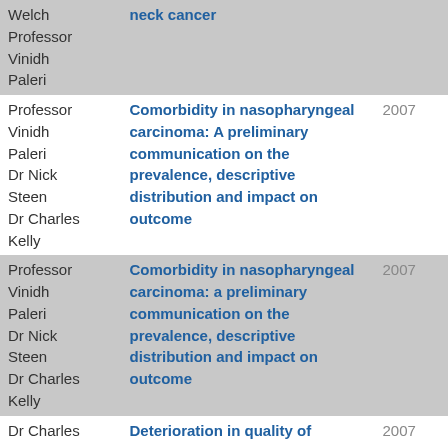| Author | Title | Year |
| --- | --- | --- |
| Welch
Professor
Vinidh
Paleri | neck cancer |  |
| Professor
Vinidh
Paleri
Dr Nick
Steen
Dr Charles
Kelly | Comorbidity in nasopharyngeal carcinoma: A preliminary communication on the prevalence, descriptive distribution and impact on outcome | 2007 |
| Professor
Vinidh
Paleri
Dr Nick
Steen
Dr Charles
Kelly | Comorbidity in nasopharyngeal carcinoma: a preliminary communication on the prevalence, descriptive distribution and impact on outcome | 2007 |
| Dr Charles | Deterioration in quality of | 2007 |